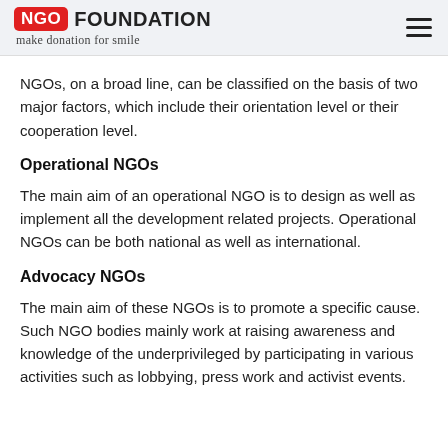NGO FOUNDATION — make donation for smile
NGOs, on a broad line, can be classified on the basis of two major factors, which include their orientation level or their cooperation level.
Operational NGOs
The main aim of an operational NGO is to design as well as implement all the development related projects. Operational NGOs can be both national as well as international.
Advocacy NGOs
The main aim of these NGOs is to promote a specific cause. Such NGO bodies mainly work at raising awareness and knowledge of the underprivileged by participating in various activities such as lobbying, press work and activist events.